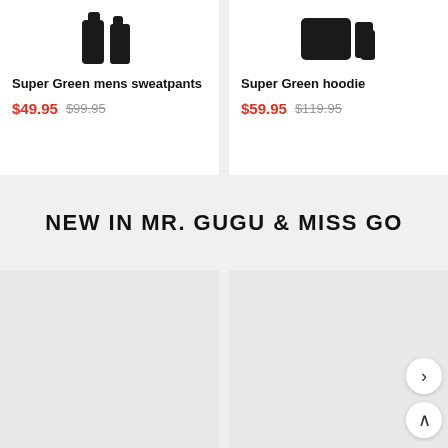[Figure (photo): Product image area showing dark boots/shoes for Super Green mens sweatpants card (top left)]
Super Green mens sweatpants
$49.95  $99.95
[Figure (photo): Product image area showing dark boots/shoes for Super Green hoodie card (top right)]
Super Green hoodie
$59.95  $119.95
NEW IN MR. GUGU & MISS GO
[Figure (photo): New product image placeholder, bottom left]
[Figure (photo): New product image placeholder, bottom right]